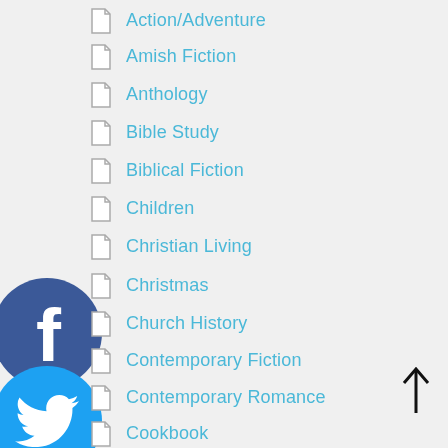Action/Adventure
Amish Fiction
Anthology
Bible Study
Biblical Fiction
Children
Christian Living
Christmas
Church History
Contemporary Fiction
Contemporary Romance
Cookbook
Devotionals
Dual Time
[Figure (illustration): Facebook social media circular icon — dark blue circle with white 'f' logo]
[Figure (illustration): Twitter social media circular icon — light blue circle with white bird logo]
[Figure (illustration): LinkedIn social media circular icon — dark blue circle with white 'in' logo]
[Figure (illustration): Email circular icon — red circle with white envelope/X icon]
[Figure (illustration): Instagram social media circular icon — gradient circle with white camera icon]